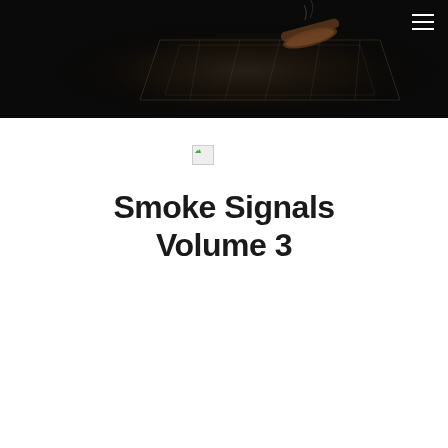[Figure (photo): Dark hero image showing a crystal ashtray with a cigar resting on it, photographed against a black background]
[Figure (illustration): Small broken/placeholder image icon]
Smoke Signals Volume 3